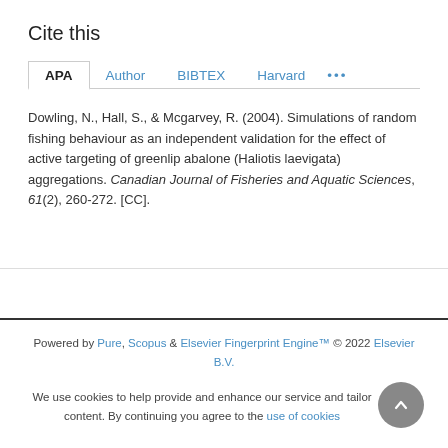Cite this
APA   Author   BIBTEX   Harvard   ...
Dowling, N., Hall, S., & Mcgarvey, R. (2004). Simulations of random fishing behaviour as an independent validation for the effect of active targeting of greenlip abalone (Haliotis laevigata) aggregations. Canadian Journal of Fisheries and Aquatic Sciences, 61(2), 260-272. [CC].
Powered by Pure, Scopus & Elsevier Fingerprint Engine™ © 2022 Elsevier B.V.
We use cookies to help provide and enhance our service and tailor content. By continuing you agree to the use of cookies